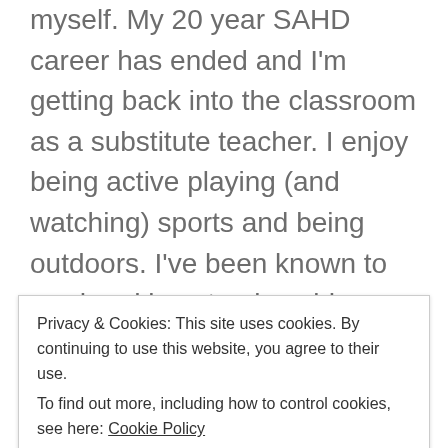myself. My 20 year SAHD career has ended and I'm getting back into the classroom as a substitute teacher. I enjoy being active playing (and watching) sports and being outdoors. I've been known to read and love to play old school board games and cards. Blog has been mostly inactive for the last few years and I'm not sure if/when I'll begin writing again. Feel free to peruse my old blog posts.
Privacy & Cookies: This site uses cookies. By continuing to use this website, you agree to their use. To find out more, including how to control cookies, see here: Cookie Policy
Close and accept
View Full Profile →